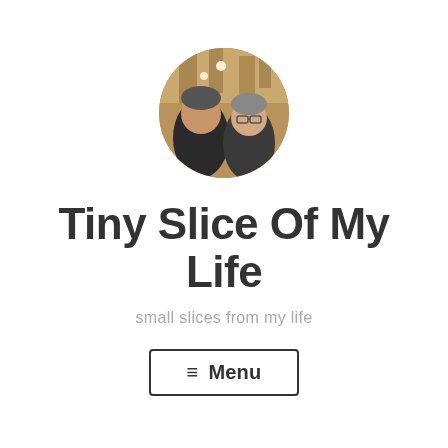[Figure (photo): Circular avatar/profile photo showing two people in a warmly lit interior setting]
Tiny Slice Of My Life
small slices from my life
≡ Menu
Tiny Snapshots – Last Day of Break